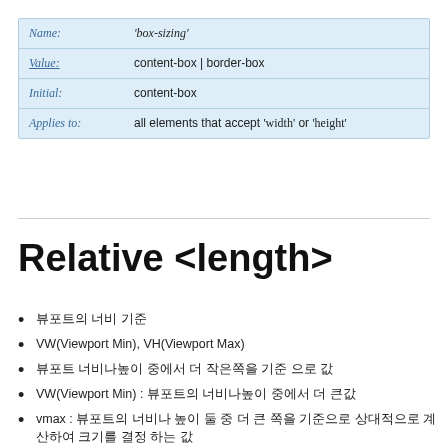| Property | Value |
| --- | --- |
| Name: | 'box-sizing' |
| Value: | content-box | border-box |
| Initial: | content-box |
| Applies to: | all elements that accept 'width' or 'height' |
Relative <length>
뷰포트의 너비 기준
VW(Viewport Min), VH(Viewport Max)
뷰포트 너비나높이 중에서 더 작은쪽을 기준 으로 값
VW(Viewport Min) : 뷰포트의 너비나높이 중에서 더 큰값
vmax : 뷰포트의 너비나 높이 둘 중 더 큰 쪽을 기준으로 상대적으로 계산하여 크기를 결정 하는 값
vmin : 뷰포트의 너비나 높이 둘 중 더 작은 쪽을 기준으로 상대적으로 계산하여 크기를 결정 하는 값